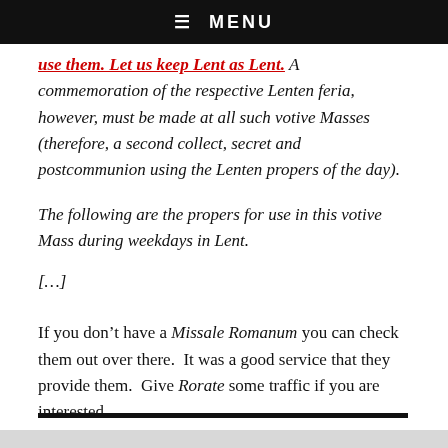☰  MENU
use them. Let us keep Lent as Lent. A commemoration of the respective Lenten feria, however, must be made at all such votive Masses (therefore, a second collect, secret and postcommunion using the Lenten propers of the day).
The following are the propers for use in this votive Mass during weekdays in Lent.
[…]
If you don't have a Missale Romanum you can check them out over there.  It was a good service that they provide them.  Give Rorate some traffic if you are interested.